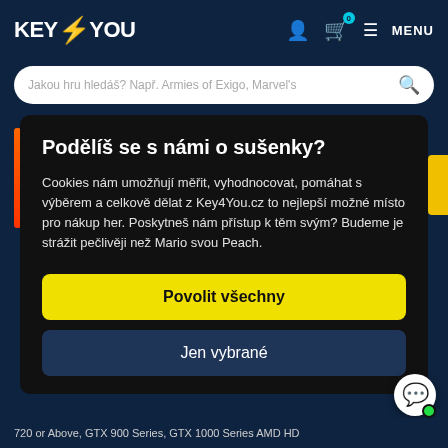KEY4YOU
Jakou hru hledáš? Např. Armies of Exigo, Marvel's
Podělíš se s námi o sušenky?
Cookies nám umožňují měřit, vyhodnocovat, pomáhat s výběrem a celkově dělat z Key4You.cz to nejlepší možné místo pro nákup her. Poskytneš nám přístup k těm svým? Budeme je strážit pečlivěji než Mario svou Peach.
Povolit všechny
Jen vybrané
720 or Above, GTX 900 Series, GTX 1000 Series AMD HD